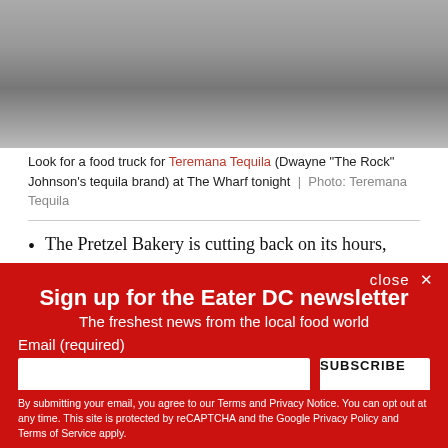[Figure (photo): Black and white photo of a vehicle, likely a car or food truck, on a paved surface.]
Look for a food truck for Teremana Tequila (Dwayne “The Rock” Johnson’s tequila brand) at The Wharf tonight | Photo: Teremana Tequila
The Pretzel Bakery is cutting back on its hours,
Sign up for the Eater DC newsletter
The freshest news from the local food world
Email (required)
SUBSCRIBE
By submitting your email, you agree to our Terms and Privacy Notice. You can opt out at any time. This site is protected by reCAPTCHA and the Google Privacy Policy and Terms of Service apply.